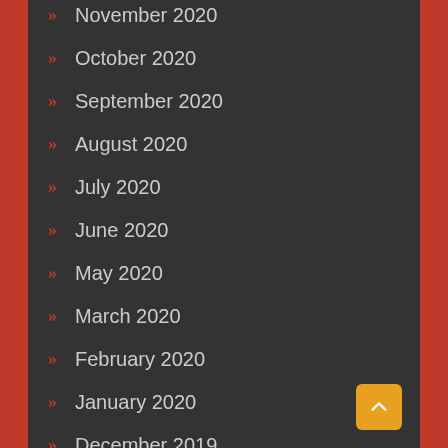November 2020
October 2020
September 2020
August 2020
July 2020
June 2020
May 2020
March 2020
February 2020
January 2020
December 2019
November 2019